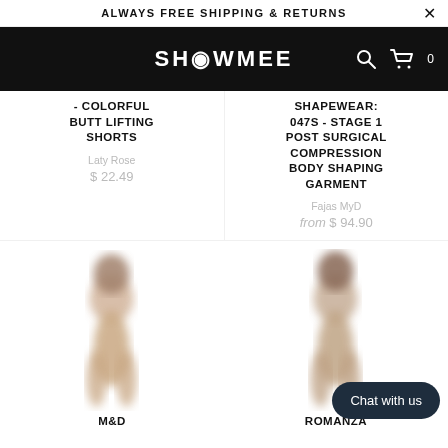ALWAYS FREE SHIPPING & RETURNS
[Figure (logo): SHOWMEE logo in white text on black background with search and cart icons]
- COLORFUL BUTT LIFTING SHORTS
Laty Rose
$ 22.49
SHAPEWEAR: 047S - STAGE 1 POST SURGICAL COMPRESSION BODY SHAPING GARMENT
Fajas MyD
from $ 94.90
[Figure (photo): Blurry photo of a model wearing a beige shapewear garment, left product]
M&D
[Figure (photo): Blurry photo of a model wearing a beige/neutral shapewear garment, right product]
ROMANZA
Chat with us